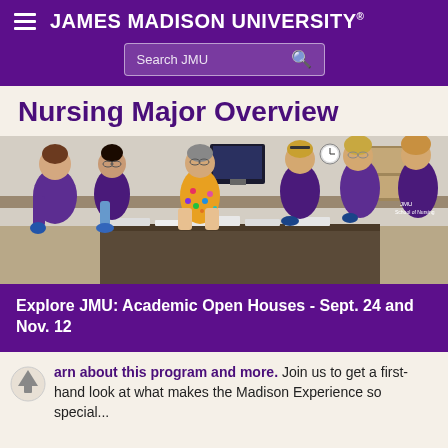JAMES MADISON UNIVERSITY
Nursing Major Overview
[Figure (photo): Nursing students in purple scrubs working in a clinical lab setting, supervised by an instructor in colorful scrubs. Students are gathered around a table with medical supplies and equipment.]
Explore JMU: Academic Open Houses - Sept. 24 and Nov. 12
arn about this program and more. Join us to get a first-hand look at what makes the Madison Experience so special...